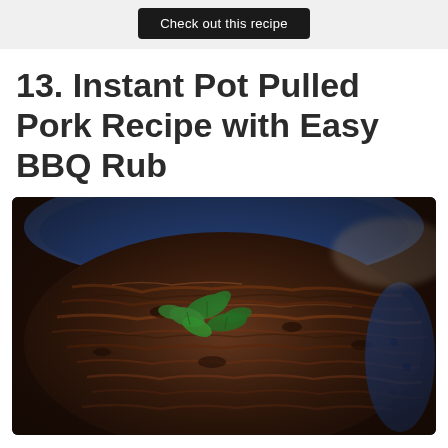Check out this recipe
13. Instant Pot Pulled Pork Recipe with Easy BBQ Rub
[Figure (photo): Close-up photo of shredded pulled pork garnished with fresh green herbs in a blue bowl]